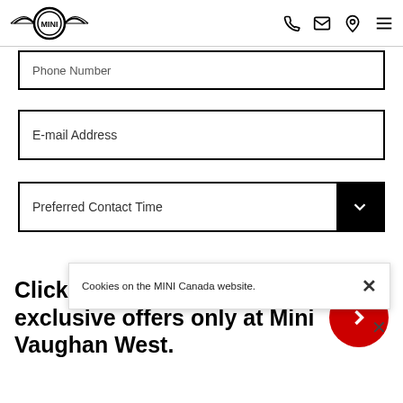MINI Canada - header with logo and icons
Phone Number
E-mail Address
Preferred Contact Time
Co...
Cookies on the MINI Canada website.
Click her to claim online exclusive offers only at Mini Vaughan West.